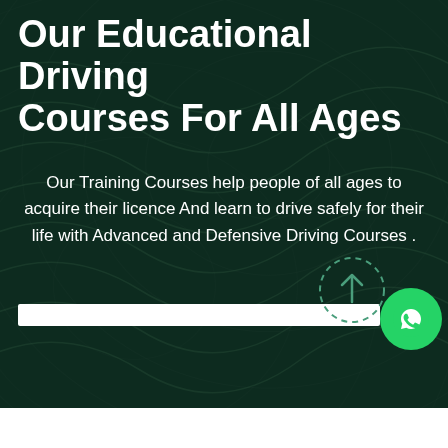Our Educational Driving Courses For All Ages
Our Training Courses help people of all ages to acquire their licence And learn to drive safely for their life with Advanced and Defensive Driving Courses .
[Figure (illustration): Dashed circle with upward arrow (scroll-to-top icon) in teal color]